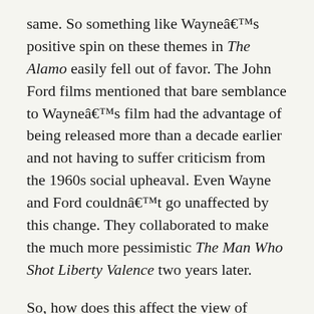same. So something like Wayne's positive spin on these themes in The Alamo easily fell out of favor. The John Ford films mentioned that bare semblance to Wayne's film had the advantage of being released more than a decade earlier and not having to suffer criticism from the 1960s social upheaval. Even Wayne and Ford couldn't go unaffected by this change. They collaborated to make the much more pessimistic The Man Who Shot Liberty Valence two years later.
So, how does this affect the view of Wayne's The Alamo? Maybe it can be s as quaint. It was a film that was dated almost from the moment it was released and